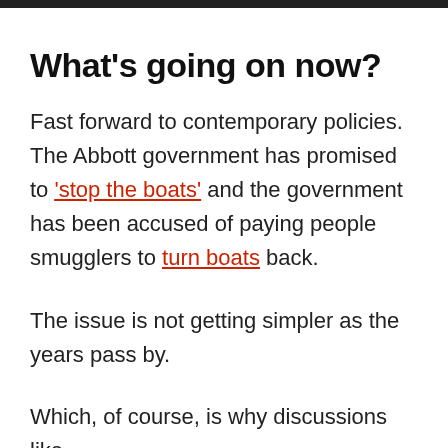What's going on now?
Fast forward to contemporary policies. The Abbott government has promised to 'stop the boats' and the government has been accused of paying people smugglers to turn boats back.
The issue is not getting simpler as the years pass by.
Which, of course, is why discussions like